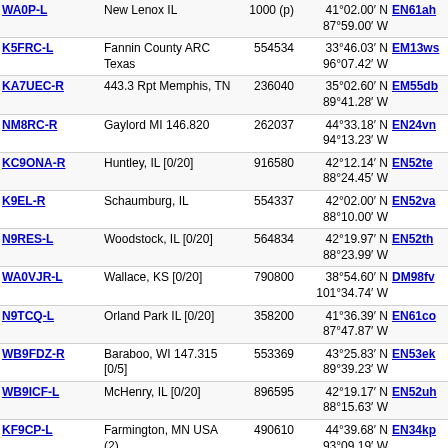| Callsign | Location | Node | Coordinates | Grid | Dist | Freq |
| --- | --- | --- | --- | --- | --- | --- |
| WA0P-L (partial) | New Lenox IL | 1000(partial) | 41°02.00' N 87°59.00' W | EN61ah | 377(partial) |  |
| K5FRC-L | Fannin County ARC Texas | 554534 | 33°46.03' N 96°07.42' W | EM13ws | 379.0 | 145.47 |
| KA7UEC-R | 443.3 Rpt Memphis, TN | 236040 | 35°02.60' N 89°41.28' W | EM55db | 379.7 | 443.30 |
| NM8RC-R | Gaylord MI 146.820 | 262037 | 44°33.18' N 94°13.23' W | EN24vn | 379.9 | 146.82 |
| KC9ONA-R | Huntley, IL [0/20] | 916580 | 42°12.14' N 88°24.45' W | EN52te | 381.0 | 446.02 |
| K9EL-R | Schaumburg, IL | 554337 | 42°02.00' N 88°10.00' W | EN52va | 385.5 | 224.56 |
| N9RES-L | Woodstock, IL [0/20] | 564834 | 42°19.97' N 88°23.99' W | EN52th | 386.3 | 446.02 |
| WA0VJR-L | Wallace, KS [0/20] | 790800 | 38°54.60' N 101°34.74' W | DM98fv | 387.4 |  |
| N9TCQ-L | Orland Park IL [0/20] | 358200 | 41°36.39' N 87°47.87' W | EN61co | 388.7 |  |
| WB9FDZ-R | Baraboo, WI 147.315 [0/5] | 553369 | 43°25.83' N 89°39.23' W | EN53ek | 389.2 |  |
| WB9ICF-L | McHenry, IL [0/20] | 896595 | 42°19.17' N 88°15.63' W | EN52uh | 391.7 |  |
| KF9CP-L | Farmington, MN USA (2) | 490610 | 44°39.68' N 93°09.19' W | EN34kp | 392.3 | 147.58 |
| K8JTK-R | All ur base are belong 2 us | 233196 | 41°59.73' N 87°57.72' W | EN61ax | 393.3 |  |
| W9HC-L | Brookfield, IL | 288001 | 41°50.18' N ... | EN61bu | 393.7 | 145.75 |